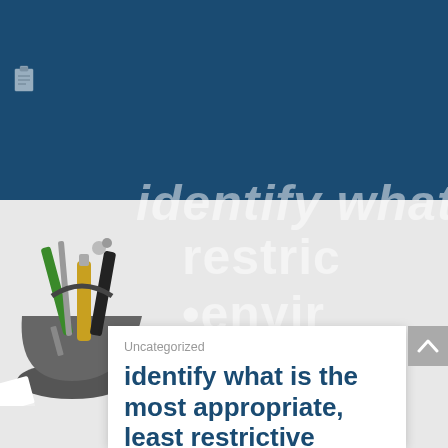[Figure (screenshot): Dark blue banner background at top with a clipboard icon in the upper left. Overlapping watermark text showing partial words 'identify', 'restric', 'envir' in white italic letters spanning the dark and light sections. A photo of tools (screwdrivers, wrenches in a bucket) on the left side over gray background. A white card panel at the bottom right with category label 'Uncategorized' and title text 'identify what is the most appropriate, least restrictive'. A gray scroll-to-top arrow button on the far right.]
Uncategorized
identify what is the most appropriate, least restrictive